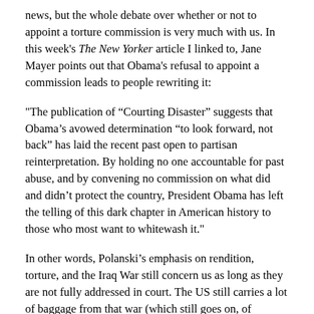news, but the whole debate over whether or not to appoint a torture commission is very much with us. In this week's The New Yorker article I linked to, Jane Mayer points out that Obama's refusal to appoint a commission leads to people rewriting it:
"The publication of “Courting Disaster” suggests that Obama’s avowed determination “to look forward, not back” has laid the recent past open to partisan reinterpretation. By holding no one accountable for past abuse, and by convening no commission on what did and didn’t protect the country, President Obama has left the telling of this dark chapter in American history to those who most want to whitewash it."
In other words, Polanski’s emphasis on rendition, torture, and the Iraq War still concern us as long as they are not fully addressed in court. The US still carries a lot of baggage from that war (which still goes on, of course), and The Ghost Writer dwells on that open wound, as it were, in a way that other war